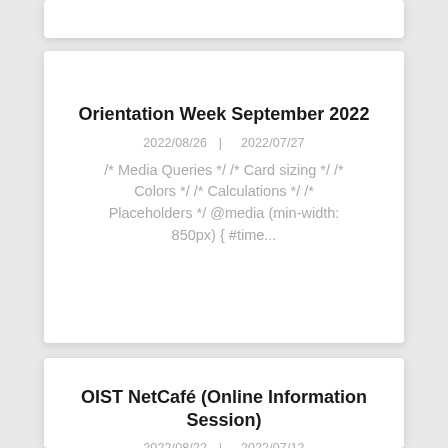Orientation Week September 2022
2022/08/26 | 2022/07/27
/* Media Queries */ /* Card sizing */ /* Colors */ /* Calculations */ /* Placeholders */ @media (min-width: 850px) { #time...
OIST NetCafé (Online Information Session)
2022/08/22 | 2022/07/12
Date: August 25th (Fri) Time: 5:00 PM...